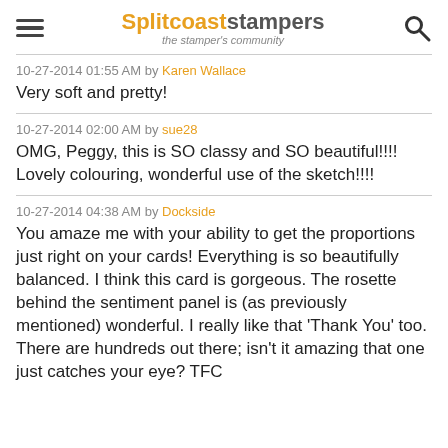Splitcoaststampers — the stamper's community
10-27-2014 01:55 AM by Karen Wallace
Very soft and pretty!
10-27-2014 02:00 AM by sue28
OMG, Peggy, this is SO classy and SO beautiful!!!! Lovely colouring, wonderful use of the sketch!!!!
10-27-2014 04:38 AM by Dockside
You amaze me with your ability to get the proportions just right on your cards! Everything is so beautifully balanced. I think this card is gorgeous. The rosette behind the sentiment panel is (as previously mentioned) wonderful. I really like that 'Thank You' too. There are hundreds out there; isn't it amazing that one just catches your eye? TFC